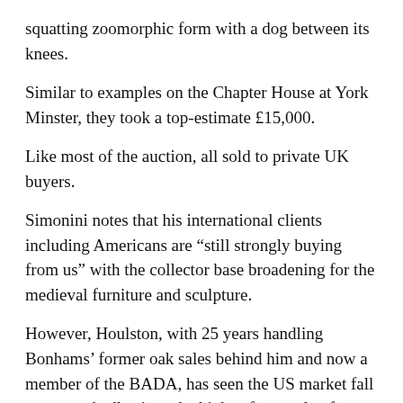squatting zoomorphic form with a dog between its knees.
Similar to examples on the Chapter House at York Minster, they took a top-estimate £15,000.
Like most of the auction, all sold to private UK buyers.
Simonini notes that his international clients including Americans are “still strongly buying from us” with the collector base broadening for the medieval furniture and sculpture.
However, Houlston, with 25 years handling Bonhams’ former oak sales behind him and now a member of the BADA, has seen the US market fall away markedly since the highs of a couple of decades ago.
“Oak never suffered the collapse in prices that mahogany furniture did but ordinary pieces such as chests of drawers and dressers did get to a point